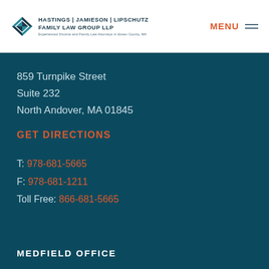Hastings | Jamieson | Lipschutz Family Law Group LLP — Experienced Divorce and Family Law Attorneys in Essex County, MA | MENU
859 Turnpike Street
Suite 232
North Andover, MA 01845
GET DIRECTIONS
T: 978-681-5665
F: 978-681-1211
Toll Free: 866-681-5665
MEDFIELD OFFICE